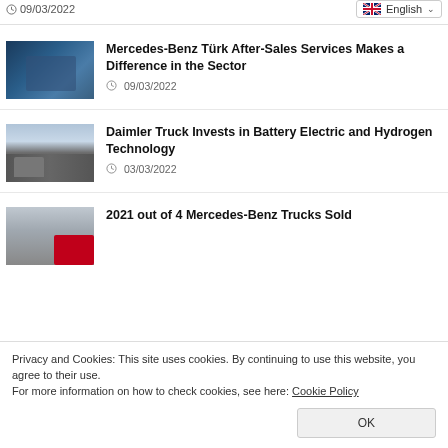09/03/2022  English
[Figure (photo): Thumbnail of a mechanic working, blue-tinted image]
Mercedes-Benz Türk After-Sales Services Makes a Difference in the Sector
09/03/2022
[Figure (photo): Thumbnail of Daimler trucks driving on a road]
Daimler Truck Invests in Battery Electric and Hydrogen Technology
03/03/2022
[Figure (photo): Thumbnail of a Mercedes-Benz truck with red cab]
2021 out of 4 Mercedes-Benz Trucks Sold
Privacy and Cookies: This site uses cookies. By continuing to use this website, you agree to their use.
For more information on how to check cookies, see here: Cookie Policy
OK